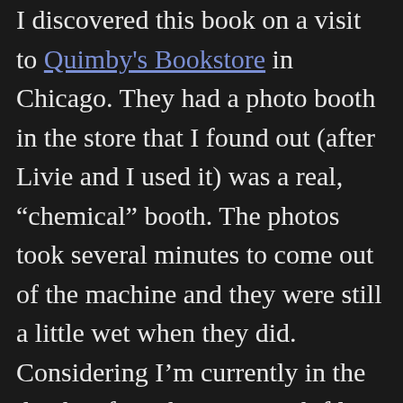I discovered this book on a visit to Quimby's Bookstore in Chicago. They had a photo booth in the store that I found out (after Livie and I used it) was a real, "chemical" booth. The photos took several minutes to come out of the machine and they were still a little wet when they did. Considering I'm currently in the depths of an obsession with film photography, this was fascinating to me. On the outside of the booth was an advertisement for this book.
On first look, you would think this is a comic, but there's very little sequential storytelling happening here. It's just juxtaposed illustrations and text. It occurred to me when I would occasionally see a